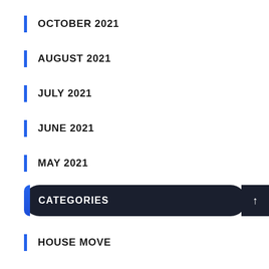OCTOBER 2021
AUGUST 2021
JULY 2021
JUNE 2021
MAY 2021
CATEGORIES
HOUSE MOVE
JUNK REMOVAL
LOCAL MOVERS